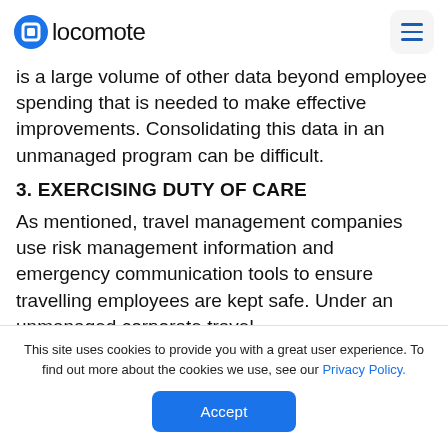locomote
is a large volume of other data beyond employee spending that is needed to make effective improvements. Consolidating this data in an unmanaged program can be difficult.
3. EXERCISING DUTY OF CARE
As mentioned, travel management companies use risk management information and emergency communication tools to ensure travelling employees are kept safe. Under an unmanaged corporate travel
This site uses cookies to provide you with a great user experience. To find out more about the cookies we use, see our Privacy Policy.
Accept